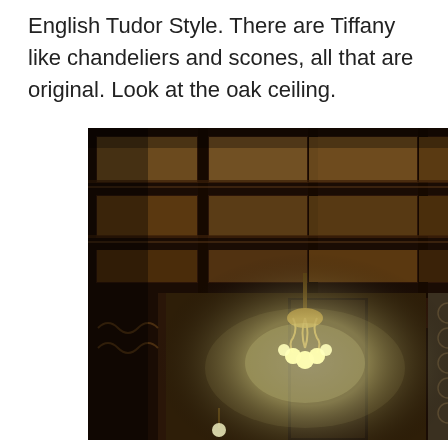English Tudor Style. There are Tiffany like chandeliers and scones, all that are original. Look at the oak ceiling.
[Figure (photo): Interior photograph showing an ornate English Tudor style oak coffered ceiling with decorative carved wood panels and beams. A Tiffany-style chandelier with multiple globe lights hangs from the center. A timestamp '06.13.2014' is visible in the upper right in red text. The lower portion shows decorative wallpaper and woodwork.]